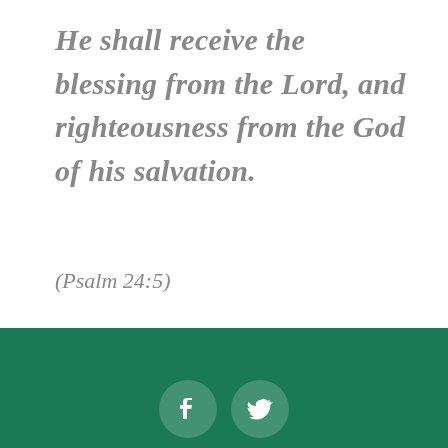He shall receive the blessing from the Lord, and righteousness from the God of his salvation.
(Psalm 24:5)
[Figure (other): Dark green footer bar with two circular social media icons: Facebook and Twitter]